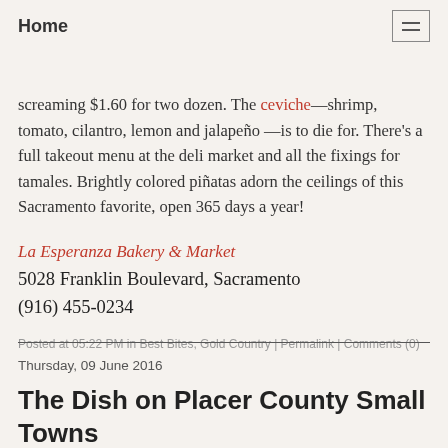Home
cake, churros and colorful conchas. Fresh tortillas are still warm and a screaming $1.60 for two dozen. The ceviche—shrimp, tomato, cilantro, lemon and jalapeño —is to die for. There's a full takeout menu at the deli market and all the fixings for tamales. Brightly colored piñatas adorn the ceilings of this Sacramento favorite, open 365 days a year!
La Esperanza Bakery & Market
5028 Franklin Boulevard, Sacramento
(916) 455-0234
Posted at 05:22 PM in Best Bites, Gold Country | Permalink | Comments (0)
Thursday, 09 June 2016
The Dish on Placer County Small Towns